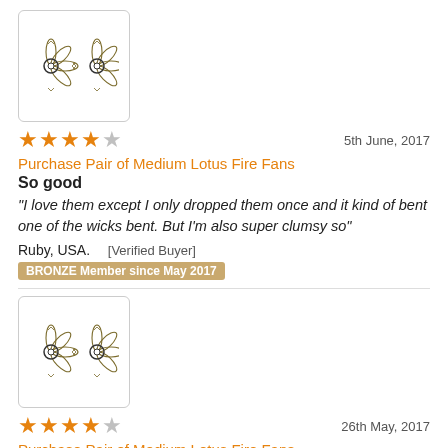[Figure (logo): Lotus Fire Fans product image - two fan shapes with circles, decorative floral/fan pattern, in a rounded rectangle border]
★★★★☆  5th June, 2017
Purchase Pair of Medium Lotus Fire Fans
So good
"I love them except I only dropped them once and it kind of bent one of the wicks bent. But I'm also super clumsy so"
Ruby, USA.   [Verified Buyer]
BRONZE Member since May 2017
[Figure (logo): Lotus Fire Fans product image - two fan shapes with circles, decorative floral/fan pattern, in a rounded rectangle border]
★★★★☆  26th May, 2017
Purchase Pair of Medium Lotus Fire Fans